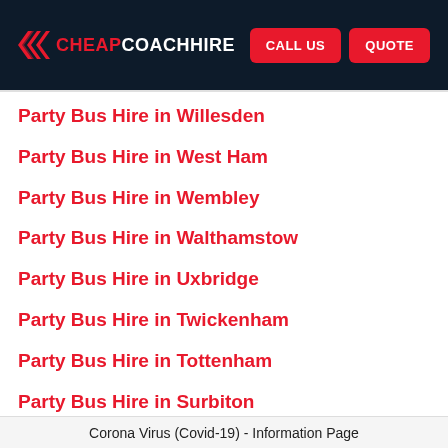CHEAP COACH HIRE | CALL US | QUOTE
Party Bus Hire in Willesden
Party Bus Hire in West Ham
Party Bus Hire in Wembley
Party Bus Hire in Walthamstow
Party Bus Hire in Uxbridge
Party Bus Hire in Twickenham
Party Bus Hire in Tottenham
Party Bus Hire in Surbiton
Corona Virus (Covid-19) - Information Page